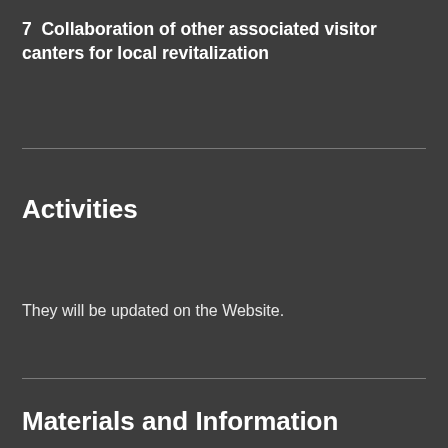7  Collaboration of other associated visitor canters for local revitalization
Activities
They will be updated on the Website.
Materials and Information